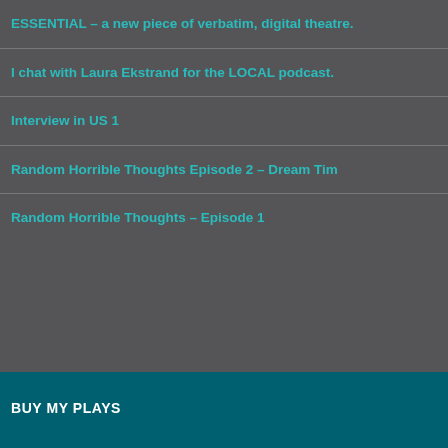ESSENTIAL – a new piece of verbatim, digital theatre.
I chat with Laura Ekstrand for the LOCAL podcast.
Interview in US 1
Random Horrible Thoughts Episode 2 – Dream Tim
Random Horrible Thoughts – Episode 1
BUY MY PLAYS